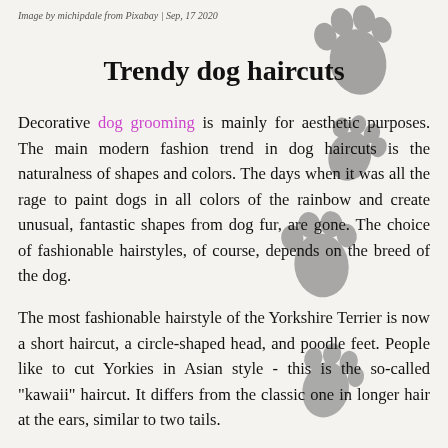Image by michipdale from Pixabay | Sep, 17 2020
[Figure (illustration): Gray dog paw prints decorating the upper right and center right of the page]
Trendy dog haircuts
Decorative dog grooming is mainly for aesthetic purposes. The main modern fashion trend in dog haircuts is the naturalness of shapes and colors. The days when it was all the rage to paint dogs in all colors of the rainbow and create unusual, fantastic shapes from dog fur, are gone. The choice of fashionable hairstyles, of course, depends on the breed of the dog.
The most fashionable hairstyle of the Yorkshire Terrier is now a short haircut, a circle-shaped head, and poodle feet. People like to cut Yorkies in Asian style - this is the so-called "kawaii" haircut. It differs from the classic one in longer hair at the ears, similar to two tails.